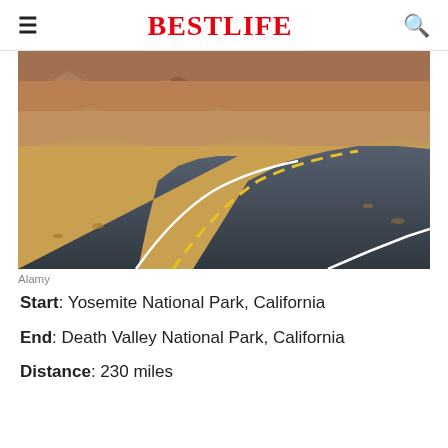BESTLIFE
[Figure (photo): A winding desert road with yellow and white lane markings cutting through an arid sandy landscape with colorful layered mountains in the background, viewed from a low angle. Death Valley / California desert scene.]
Alamy
Start: Yosemite National Park, California
End: Death Valley National Park, California
Distance: 230 miles